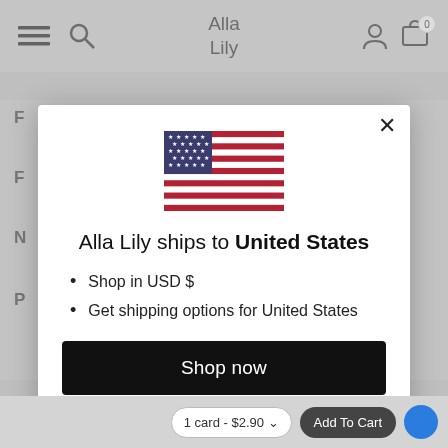Alla Lily
[Figure (screenshot): Modal dialog on Alla Lily website showing a US flag icon, shipping message, bullet points about USD and shipping, a Shop now button, and a Change shipping country link]
Alla Lily ships to United States
Shop in USD $
Get shipping options for United States
Shop now
Change shipping country